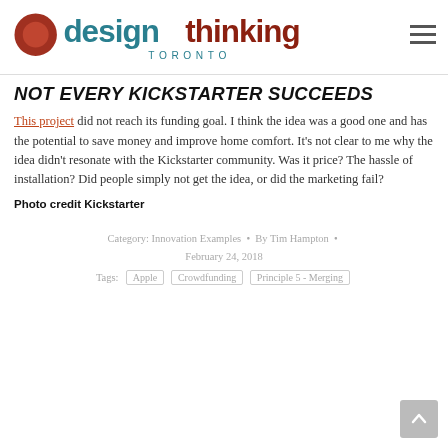Design Thinking Toronto
NOT EVERY KICKSTARTER SUCCEEDS
This project did not reach its funding goal. I think the idea was a good one and has the potential to save money and improve home comfort. It's not clear to me why the idea didn't resonate with the Kickstarter community. Was it price? The hassle of installation? Did people simply not get the idea, or did the marketing fail?
Photo credit Kickstarter
Category: Innovation Examples • By Tim Hampton • February 24, 2018
Tags: Apple  Crowdfunding  Principle 5 - Merging